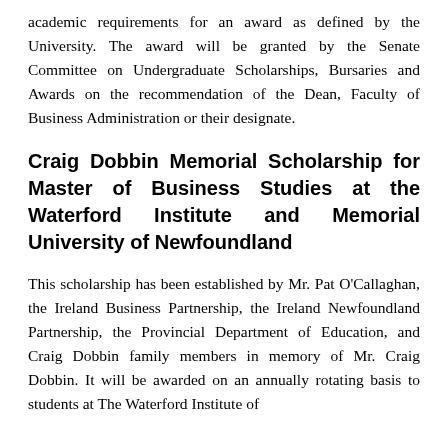academic requirements for an award as defined by the University. The award will be granted by the Senate Committee on Undergraduate Scholarships, Bursaries and Awards on the recommendation of the Dean, Faculty of Business Administration or their designate.
Craig Dobbin Memorial Scholarship for Master of Business Studies at the Waterford Institute and Memorial University of Newfoundland
This scholarship has been established by Mr. Pat O'Callaghan, the Ireland Business Partnership, the Ireland Newfoundland Partnership, the Provincial Department of Education, and Craig Dobbin family members in memory of Mr. Craig Dobbin. It will be awarded on an annually rotating basis to students at The Waterford Institute of